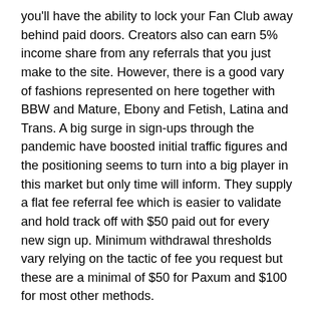you'll have the ability to lock your Fan Club away behind paid doors. Creators also can earn 5% income share from any referrals that you just make to the site. However, there is a good vary of fashions represented on here together with BBW and Mature, Ebony and Fetish, Latina and Trans. A big surge in sign-ups through the pandemic have boosted initial traffic figures and the positioning seems to turn into a big player in this market but only time will inform. They supply a flat fee referral fee which is easier to validate and hold track off with $50 paid out for every new sign up. Minimum withdrawal thresholds vary relying on the tactic of fee you request but these are a minimal of $50 for Paxum and $100 for most other methods.
All that, whereas together with fighting for social justice.
Followers are additionally able to request customized content material that the model can settle for or refuse to create.